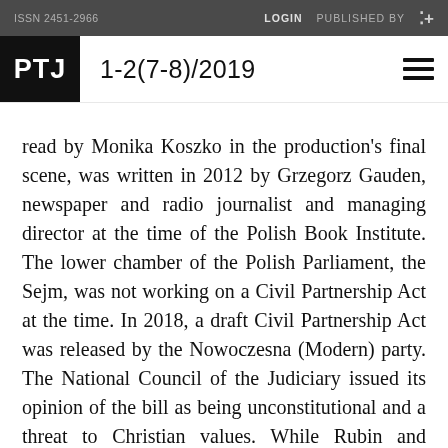ISSN 2451-2966    LOGIN    PUBLISHED BY
PTJ  1-2(7-8)/2019
read by Monika Koszko in the production's final scene, was written in 2012 by Grzegorz Gauden, newspaper and radio journalist and managing director at the time of the Polish Book Institute. The lower chamber of the Polish Parliament, the Sejm, was not working on a Civil Partnership Act at the time. In 2018, a draft Civil Partnership Act was released by the Nowoczesna (Modern) party. The National Council of the Judiciary issued its opinion of the bill as being unconstitutional and a threat to Christian values. While Rubin and Janiczak opted to leave the realities of contemporary politics outside the scope of their production, they